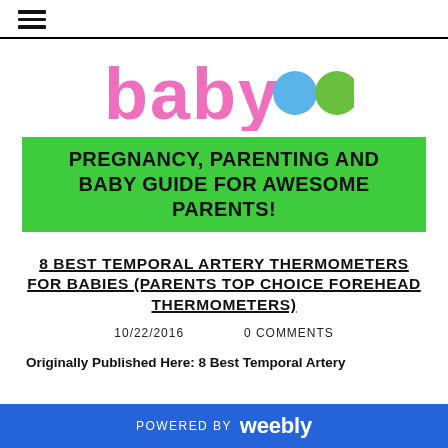≡ (hamburger menu)
[Figure (logo): Baby website logo: 'baby' in pink rounded bubble letters with two dots — one blue circle and one green circle — styled as a child's website brand]
PREGNANCY, PARENTING AND BABY GUIDE FOR AWESOME PARENTS!
8 BEST TEMPORAL ARTERY THERMOMETERS FOR BABIES (PARENTS TOP CHOICE FOREHEAD THERMOMETERS)
10/22/2016   0 COMMENTS
Originally Published Here: 8 Best Temporal Artery
POWERED BY weebly